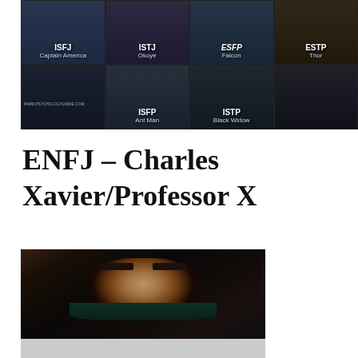[Figure (infographic): MBTI personality type grid featuring Marvel superheroes: ISFJ - Captain America, ISTJ - Okoye, ESFP - Falcon, ESTP - Thor (top row); ISFP - Ant Man, ISTP - Black Widow (bottom row center). Dark city background. Watermark: WWW.PSYCHOLOGYUNKIE.COM]
ENFJ – Charles Xavier/Professor X
[Figure (photo): Close-up photo of an actor portraying Charles Xavier/Professor X from X-Men, intense gaze, hand raised to temple, dark dramatic lighting. Bottom portion shows lighter grey/white area.]